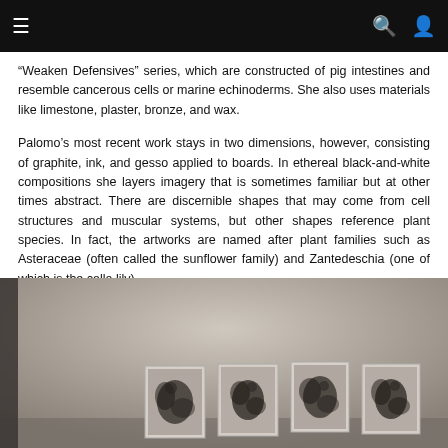Navigation bar with menu, search, and user icons
“Weaken Defensives” series, which are constructed of pig intestines and resemble cancerous cells or marine echinoderms. She also uses materials like limestone, plaster, bronze, and wax.
Palomo’s most recent work stays in two dimensions, however, consisting of graphite, ink, and gesso applied to boards. In ethereal black-and-white compositions she layers imagery that is sometimes familiar but at other times abstract. There are discernible shapes that may come from cell structures and muscular systems, but other shapes reference plant species. In fact, the artworks are named after plant families such as Asteraceae (often called the sunflower family) and Zantedeschia (one of which is the calla lily).
[Figure (photo): Gallery installation photo showing four framed black-and-white artworks mounted on a warm grey-beige wall. The works depict organic, plant-like abstract imagery.]